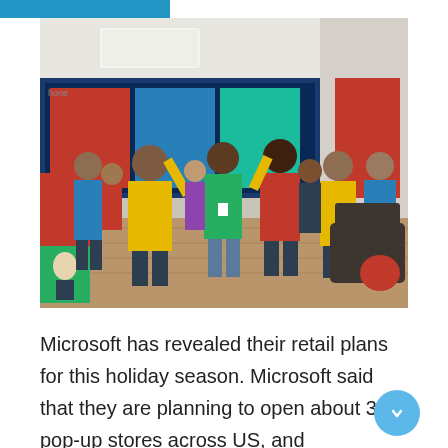[Figure (photo): Microsoft store employees in yellow and blue uniforms applauding and celebrating inside a Microsoft retail store, with product displays visible in the background.]
Microsoft has revealed their retail plans for this holiday season. Microsoft said that they are planning to open about 32 pop-up stores across US, and